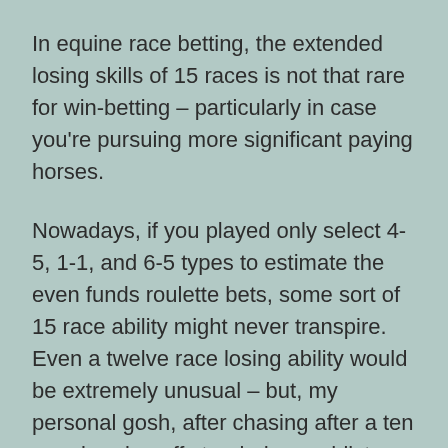In equine race betting, the extended losing skills of 15 races is not that rare for win-betting – particularly in case you're pursuing more significant paying horses.
Nowadays, if you played only select 4-5, 1-1, and 6-5 types to estimate the even funds roulette bets, some sort of 15 race ability might never transpire. Even a twelve race losing ability would be extremely unusual – but, my personal gosh, after chasing after a ten race burning off streak down whilst doubling up just to get back again a little income on your